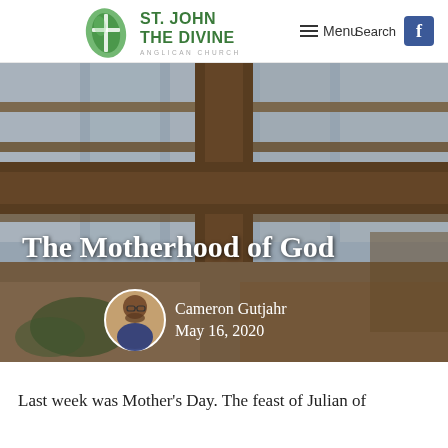Search | Facebook | Menu
[Figure (logo): St. John the Divine Anglican Church logo — green leaf with cross design, church name in green uppercase text]
[Figure (photo): Interior of St. John the Divine Anglican Church showing wooden cross beams, skylights, and warm interior lighting]
The Motherhood of God
Cameron Gutjahr
May 16, 2020
Last week was Mother's Day. The feast of Julian of